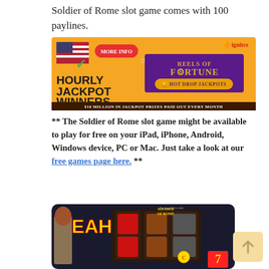Soldier of Rome slot game comes with 100 paylines.
[Figure (photo): Advertisement banner for Ignite casino showing 'Hourly Jackpot Winners' with Reels of Fortune Hot Drop Jackpots promotion on orange background. Text: $10 Million in Jackpot Prizes Paid Out Every Month. Includes US flag and MORE INFO button.]
** The Soldier of Rome slot game might be available to play for free on your iPad, iPhone, Android, Windows device, PC or Mac. Just take a look at our free games page here. **
[Figure (screenshot): Screenshot of the Soldier of Rome slot game showing 'YEAH!' text, slot reels with Roman soldier imagery, red/gold colors, and a '7' symbol visible.]